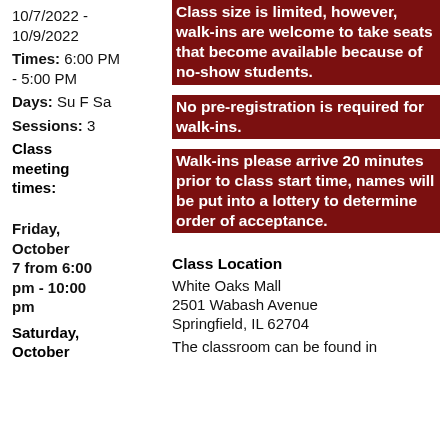10/7/2022 - 10/9/2022
Times: 6:00 PM - 5:00 PM
Days: Su F Sa
Sessions: 3
Class meeting times:
Friday, October 7 from 6:00 pm - 10:00 pm
Saturday, October
Class size is limited, however, walk-ins are welcome to take seats that become available because of no-show students.
No pre-registration is required for walk-ins.
Walk-ins please arrive 20 minutes prior to class start time, names will be put into a lottery to determine order of acceptance.
Class Location
White Oaks Mall
2501 Wabash Avenue
Springfield, IL 62704
The classroom can be found in